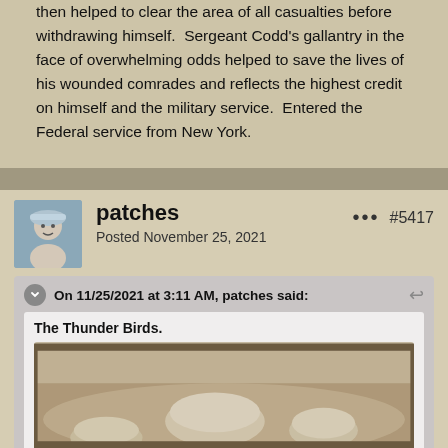then helped to clear the area of all casualties before withdrawing himself.  Sergeant Codd's gallantry in the face of overwhelming odds helped to save the lives of his wounded comrades and reflects the highest credit on himself and the military service.  Entered the Federal service from New York.
patches
Posted November 25, 2021
#5417
On 11/25/2021 at 3:11 AM, patches said:
The Thunder Birds.
[Figure (photo): Sepia-toned photograph showing military helmets partially obscured by dust or fog, with a rough terrain background]